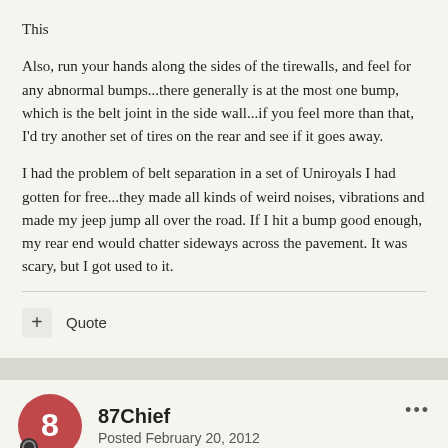This
Also, run your hands along the sides of the tirewalls, and feel for any abnormal bumps...there generally is at the most one bump, which is the belt joint in the side wall...if you feel more than that, I'd try another set of tires on the rear and see if it goes away.
I had the problem of belt separation in a set of Uniroyals I had gotten for free...they made all kinds of weird noises, vibrations and made my jeep jump all over the road. If I hit a bump good enough, my rear end would chatter sideways across the pavement. It was scary, but I got used to it.
+ Quote
87Chief
Posted February 20, 2012